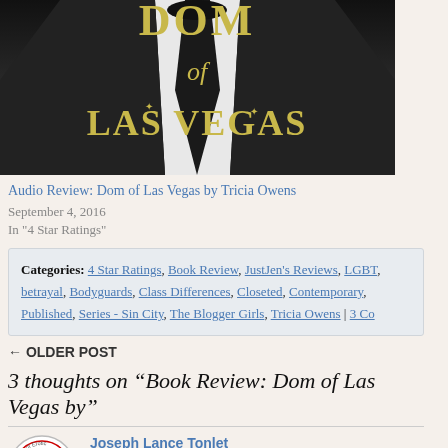[Figure (illustration): Book cover for 'Dom of Las Vegas' showing a figure in a tuxedo with tie, gold text reading 'of' and 'LAS VEGAS' on dark background]
Audio Review: Dom of Las Vegas by Tricia Owens
September 4, 2016
In "4 Star Ratings"
Categories: 4 Star Ratings, Book Review, JustJen's Reviews, LGBT, betrayal, Bodyguards, Class Differences, Closeted, Contemporary, Published, Series - Sin City, The Blogger Girls, Tricia Owens | 3 Co
← OLDER POST
3 thoughts on “Book Review: Dom of Las Vegas by”
Joseph Lance Tonlet
So glad you enjoyed it, Jen!